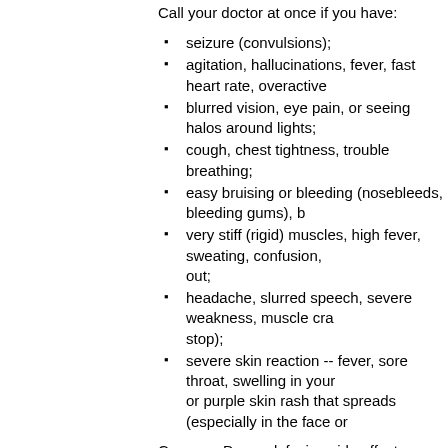Call your doctor at once if you have:
seizure (convulsions);
agitation, hallucinations, fever, fast heart rate, overactive
blurred vision, eye pain, or seeing halos around lights;
cough, chest tightness, trouble breathing;
easy bruising or bleeding (nosebleeds, bleeding gums), b
very stiff (rigid) muscles, high fever, sweating, confusion, out;
headache, slurred speech, severe weakness, muscle cra stop);
severe skin reaction -- fever, sore throat, swelling in your or purple skin rash that spreads (especially in the face or
Common Desvenlafaxine side effects may include:
dizziness, drowsiness, anxiety;
increased sweating;
mild nausea, loss of appetite, constipation;
sleep problems (insomnia); or
decreased sex drive, impotence, or difficulty having an o
Pristiq ansiedade